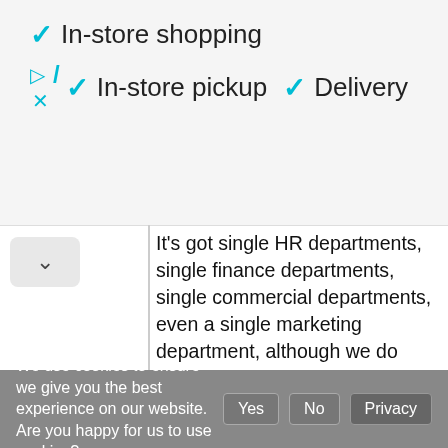✓ In-store shopping
▷/ ✓ In-store pickup ✓ Delivery ×
It's got single HR departments, single finance departments, single commercial departments, even a single marketing department, although we do have two separate heads of marketing for Kulula and BA because the brands are so different and because the customer proposition on the face of it is very different. On the operations side, single operating department, the same pilots. We do have a pool of cabin crew that's crossed trained but we do also have a portion of cabin crew that are purely Kulula and a portion that are pure BA, so it really is one airline, I think, people say, well how can you operate a low cost carrier in a traditional airline environment but I don't think we ever really were a traditional carrier, we were always a low cost carrier, even operating as British Airways. Our background and our history has always been a very tight-fisted and efficient type of operation so you know, people say
We use cookies to ensure we give you the best experience on our website. Are you happy for us to use cookies? Yes No Privacy